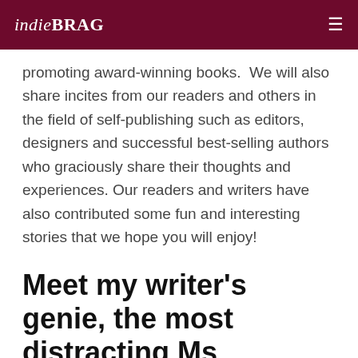indieBRAG
promoting award-winning books.  We will also share incites from our readers and others in the field of self-publishing such as editors, designers and successful best-selling authors who graciously share their thoughts and experiences. Our readers and writers have also contributed some fun and interesting stories that we hope you will enjoy!
Meet my writer's genie, the most distracting Ms Inspiration by Anna